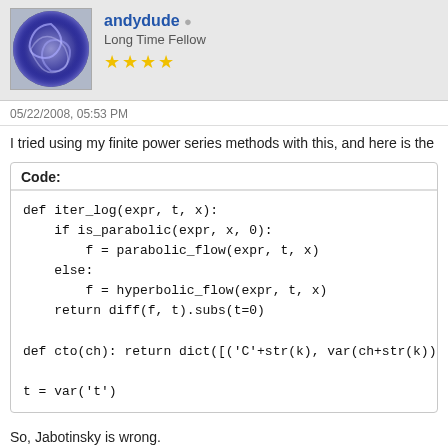andydude — Long Time Fellow
05/22/2008, 05:53 PM
I tried using my finite power series methods with this, and here is the
Code:
def iter_log(expr, t, x):
    if is_parabolic(expr, x, 0):
        f = parabolic_flow(expr, t, x)
    else:
        f = hyperbolic_flow(expr, t, x)
    return diff(f, t).subs(t=0)

def cto(ch): return dict([('C'+str(k), var(ch+str(k))

t = var('t')
So, Jabotinsky is wrong.
If Jabotinsky is right, then z1 = 0, but